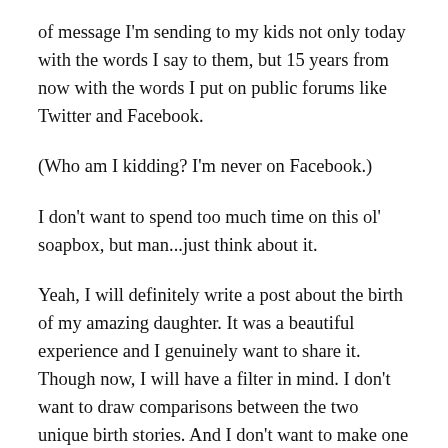of message I'm sending to my kids not only today with the words I say to them, but 15 years from now with the words I put on public forums like Twitter and Facebook.
(Who am I kidding? I'm never on Facebook.)
I don't want to spend too much time on this ol' soapbox, but man...just think about it.
Yeah, I will definitely write a post about the birth of my amazing daughter. It was a beautiful experience and I genuinely want to share it. Though now, I will have a filter in mind. I don't want to draw comparisons between the two unique birth stories. And I don't want to make one seem better (or worse, or scarier, or more serene or chaotic, or wilder, or quicker, or whatever)